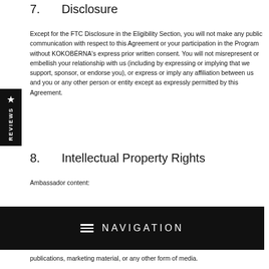7.   Disclosure
Except for the FTC Disclosure in the Eligibility Section, you will not make any public communication with respect to this Agreement or your participation in the Program without KOKOBÉRNA's express prior written consent. You will not misrepresent or embellish your relationship with us (including by expressing or implying that we support, sponsor, or endorse you), or express or imply any affiliation between us and you or any other person or entity except as expressly permitted by this Agreement.
8.   Intellectual Property Rights
Ambassador content:
[Figure (screenshot): Black navigation bar with hamburger menu icon and the text NAVIGATION in white uppercase letters]
publications, marketing material, or any other form of media.